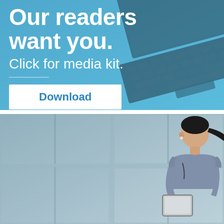[Figure (illustration): Advertisement banner with blue background showing a laptop keyboard in the background. Contains large white bold text 'Our readers want you.' and subtitle 'Click for media kit.' with a horizontal divider line and a white Download button with blue text.]
[Figure (photo): Photo of an Asian woman in a grey-blue short sleeve shirt standing in front of glass office building windows, looking down at a tablet device she is holding.]